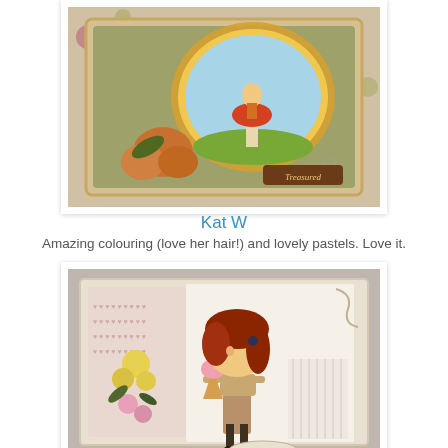[Figure (photo): Handmade greeting card with a fairy/mushroom girl illustration in a scalloped oval frame, decorated with orange roses, floral patterned paper background, and 'Treasured' sentiment label. Warm orange and green color palette.]
Kat W
Amazing colouring (love her hair!) and lovely pastels. Love it.
[Figure (photo): Handmade greeting card featuring a big-headed anime-style girl with vivid auburn/orange hair holding an ice cream cone, mounted on pastel pink patterned paper with cream frame, decorated with yellow and pink paper roses and greenery. Soft pastel color palette.]